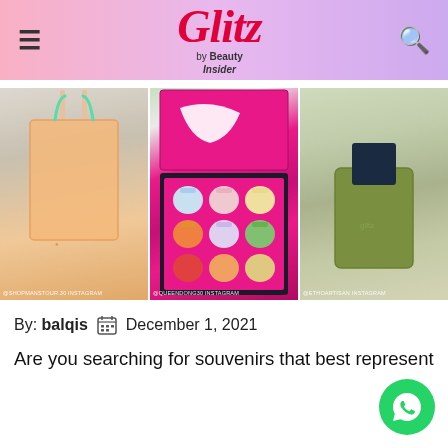Glitz by Beauty Insider
[Figure (photo): Three product photos side by side: a peach translucent tote bag, a magenta gift box with colorful candles/chocolates, and a green leather phone holder with a navy card.]
By: balqis   December 1, 2021
Are you searching for souvenirs that best represent